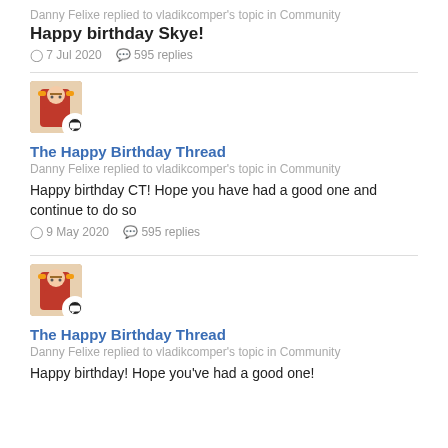Danny Felixe replied to vladikcomper's topic in Community
Happy birthday Skye!
7 Jul 2020   595 replies
[Figure (illustration): User avatar with chat bubble badge]
The Happy Birthday Thread
Danny Felixe replied to vladikcomper's topic in Community
Happy birthday CT! Hope you have had a good one and continue to do so
9 May 2020   595 replies
[Figure (illustration): User avatar with chat bubble badge]
The Happy Birthday Thread
Danny Felixe replied to vladikcomper's topic in Community
Happy birthday! Hope you've had a good one!